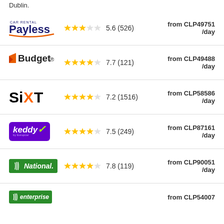Dublin.
Payless Car Rental — 5.6 (526) — from CLP49751 /day
Budget — 7.7 (121) — from CLP49488 /day
Sixt — 7.2 (1516) — from CLP58586 /day
keddy by Europcar — 7.5 (249) — from CLP87161 /day
National — 7.8 (119) — from CLP90051 /day
Enterprise — from CLP54007 /day (partial)